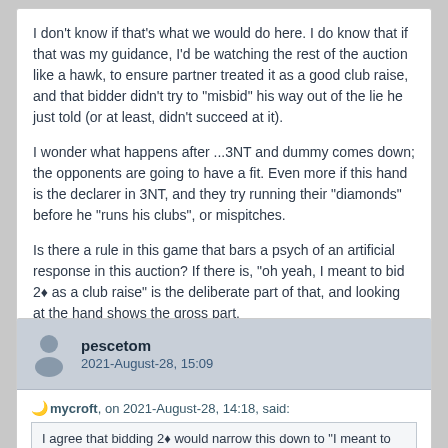I don't know if that's what we would do here. I do know that if that was my guidance, I'd be watching the rest of the auction like a hawk, to ensure partner treated it as a good club raise, and that bidder didn't try to "misbid" his way out of the lie he just told (or at least, didn't succeed at it).

I wonder what happens after ...3NT and dummy comes down; the opponents are going to have a fit. Even more if this hand is the declarer in 3NT, and they try running their "diamonds" before he "runs his clubs", or mispitches.

Is there a rule in this game that bars a psych of an artificial response in this auction? If there is, "oh yeah, I meant to bid 2♦ as a club raise" is the deliberate part of that, and looking at the hand shows the gross part.
pescetom
2021-August-28, 15:09
mycroft, on 2021-August-28, 14:18, said:
I agree that bidding 2♦ would narrow this down to "I meant to have the